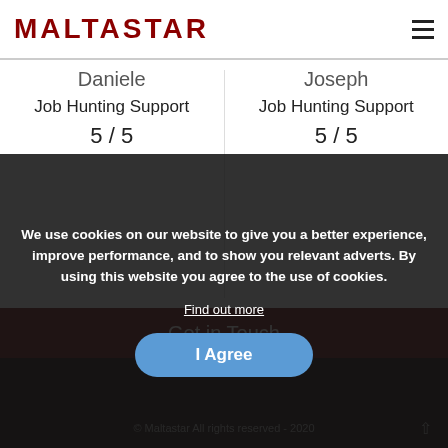MALTASTAR
Daniele
Job Hunting Support
5 / 5
Joseph
Job Hunting Support
5 / 5
Get in Touch
Cookie Policy   Privacy Policy   Terms and Conditions
© Maltastar All rights reserved - 2020
We use cookies on our website to give you a better experience, improve performance, and to show you relevant adverts. By using this website you agree to the use of cookies.
Find out more
I Agree